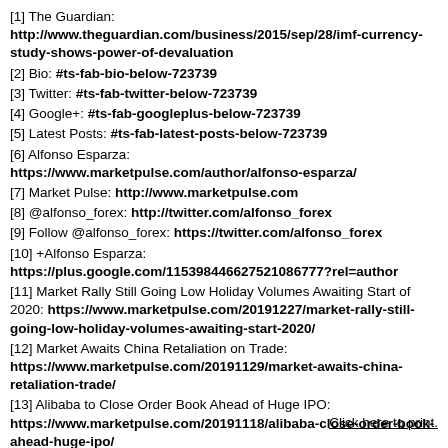[1] The Guardian: http://www.theguardian.com/business/2015/sep/28/imf-currency-study-shows-power-of-devaluation
[2] Bio: #ts-fab-bio-below-723739
[3] Twitter: #ts-fab-twitter-below-723739
[4] Google+: #ts-fab-googleplus-below-723739
[5] Latest Posts: #ts-fab-latest-posts-below-723739
[6] Alfonso Esparza: https://www.marketpulse.com/author/alfonso-esparza/
[7] Market Pulse: http://www.marketpulse.com
[8] @alfonso_forex: http://twitter.com/alfonso_forex
[9] Follow @alfonso_forex: https://twitter.com/alfonso_forex
[10] +Alfonso Esparza: https://plus.google.com/115398446627521086777?rel=author
[11] Market Rally Still Going Low Holiday Volumes Awaiting Start of 2020: https://www.marketpulse.com/20191227/market-rally-still-going-low-holiday-volumes-awaiting-start-2020/
[12] Market Awaits China Retaliation on Trade: https://www.marketpulse.com/20191129/market-awaits-china-retaliation-trade/
[13] Alibaba to Close Order Book Ahead of Huge IPO: https://www.marketpulse.com/20191118/alibaba-close-order-book-ahead-huge-ipo/
Click here to print.